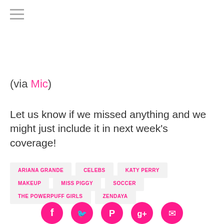[Figure (illustration): Hamburger menu icon (three horizontal lines)]
(via Mic)
Let us know if we missed anything and we might just include it in next week's coverage!
ARIANA GRANDE
CELEBS
KATY PERRY
MAKEUP
MISS PIGGY
SOCCER
THE POWERPUFF GIRLS
ZENDAYA
[Figure (illustration): Social media icons row: Facebook, Twitter, Pinterest, Google+, Email — all in pink circles]